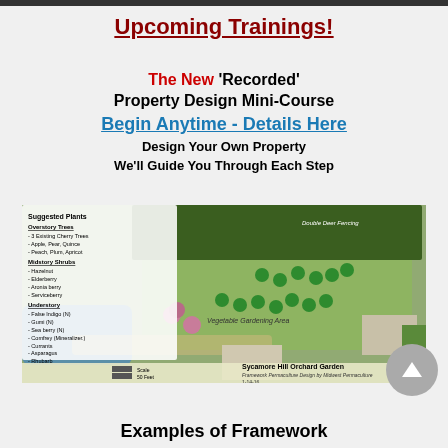Upcoming Trainings!
The New 'Recorded' Property Design Mini-Course
Begin Anytime - Details Here
Design Your Own Property
We'll Guide You Through Each Step
[Figure (photo): Aerial/overhead permaculture property design map of Sycamore Hill Orchard Garden showing suggested plants list (Overstory Trees, Midstory Shrubs, Understory), vegetable gardening area, deer fencing, pond, and various plant markers. Framework Permaculture Design by Midwest Permaculture 1-14-16.]
Examples of Framework